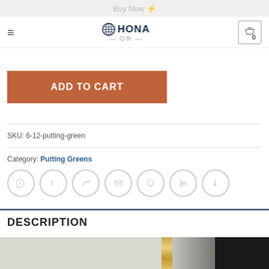[Figure (screenshot): Top clipped bar showing partial Buy Now button area in gray]
≡  HONA  — OR —   [0]
[Figure (other): Add to Cart button, rust/brown colored]
SKU: 6-12-putting-green
Category: Putting Greens
[Figure (other): Social sharing icons row: WhatsApp, Facebook, Twitter, Email, Pinterest, LinkedIn, Tumblr]
DESCRIPTION
[Figure (photo): Partial photo showing a light gray surface with a gold/metallic edge strip and dark background on the right]